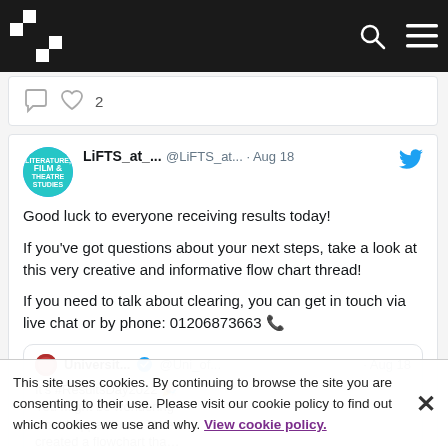[Figure (screenshot): Website navigation bar with dark background, logo (checkerboard pattern), search icon, and hamburger menu icon on the right]
[Figure (screenshot): Partial tweet card showing comment and heart icons with '2' likes]
LiFTS_at_... @LiFTS_at... · Aug 18
Good luck to everyone receiving results today!

If you've got questions about your next steps, take a look at this very creative and informative flow chart thread!

If you need to talk about clearing, you can get in touch via live chat or by phone: 01206873663
Universit... @Uni_of... · Aug 18
It's #ResultsDay2022
You might be wondering what happens now? We've created a flowchart that…
This site uses cookies. By continuing to browse the site you are consenting to their use. Please visit our cookie policy to find out which cookies we use and why. View cookie policy.